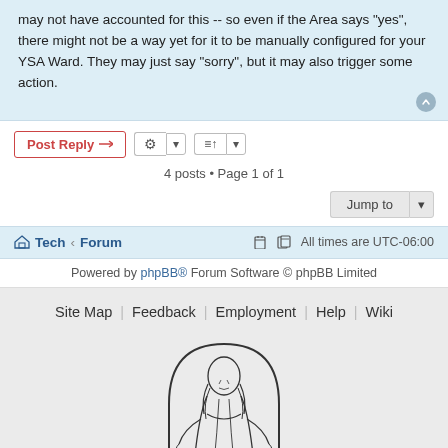may not have accounted for this -- so even if the Area says "yes", there might not be a way yet for it to be manually configured for your YSA Ward. They may just say "sorry", but it may also trigger some action.
4 posts • Page 1 of 1
Jump to
Tech ‹ Forum   All times are UTC-06:00
Powered by phpBB® Forum Software © phpBB Limited
Site Map   Feedback   Employment   Help   Wiki
[Figure (illustration): Line drawing illustration of Jesus Christ standing with arms slightly outstretched, inside an arched frame]